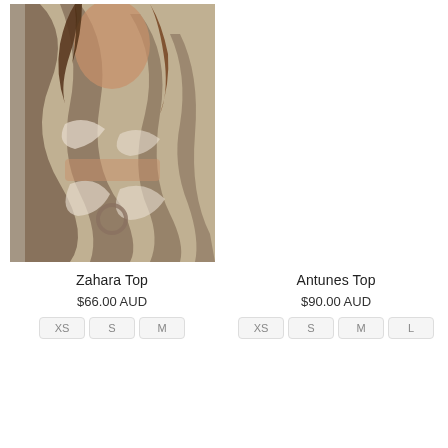[Figure (photo): Woman wearing a zebra-print two-piece outfit consisting of a crop top and skirt with a ring cutout detail]
Zahara Top
$66.00 AUD
XS  S  M
Antunes Top
$90.00 AUD
XS  S  M  L